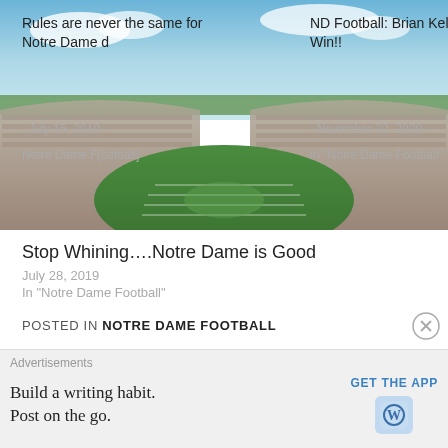[Figure (photo): Aerial photograph of Notre Dame's football stadium (Notre Dame Stadium), showing the field and packed stands, used as a hero background image with overlaid post links.]
Rules are never the same for Notre Dame d[ifferent]
ND Football: Brian Kelly 100th Win!!
July 15, 2019
Notre Dame F[ootball]
November 22, 2020
In "Notre Dame Football"
Stop Whining….Notre Dame is Good
July 28, 2019
In "Notre Dame Football"
POSTED IN NOTRE DAME FOOTBALL
ND FOOTBALL: ECHOES 18 AWARDS BANQUET WRAP...
CONTROLLING 1ST DOWN, CONTROLS THE...
Advertisements
Build a writing habit. Post on the go.
GET THE APP